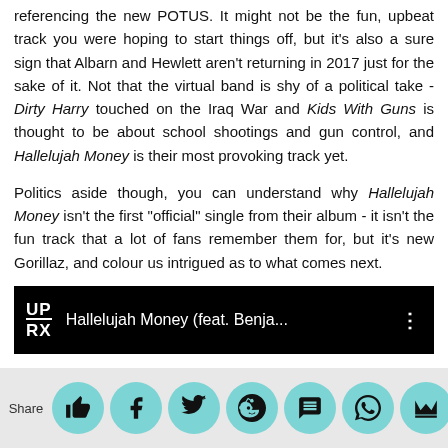referencing the new POTUS. It might not be the fun, upbeat track you were hoping to start things off, but it's also a sure sign that Albarn and Hewlett aren't returning in 2017 just for the sake of it. Not that the virtual band is shy of a political take - Dirty Harry touched on the Iraq War and Kids With Guns is thought to be about school shootings and gun control, and Hallelujah Money is their most provoking track yet.
Politics aside though, you can understand why Hallelujah Money isn't the first "official" single from their album - it isn't the fun track that a lot of fans remember them for, but it's new Gorillaz, and colour us intrigued as to what comes next.
[Figure (screenshot): YouTube-style video player bar showing UPRX logo and title 'Hallelujah Money (feat. Benja...' with a three-dot menu icon on black background]
[Figure (infographic): Social share bar with Share label and circular teal icons for thumbs up, Facebook, Twitter, Reddit, message/SMS, WhatsApp, and crown/premium]